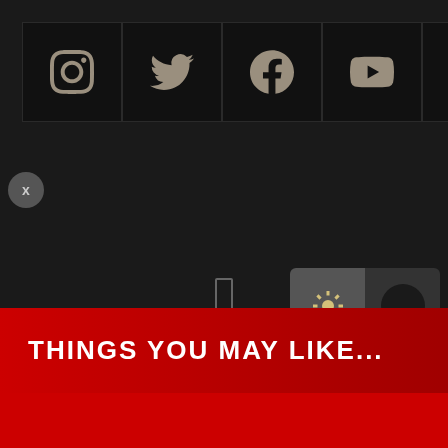[Figure (screenshot): Social media icon bar with Instagram, Twitter, Facebook, YouTube, and RSS icons on dark background]
[Figure (infographic): Dark mode toggle with sun/moon icons, close button, and small rectangle indicator]
THINGS YOU MAY LIKE...